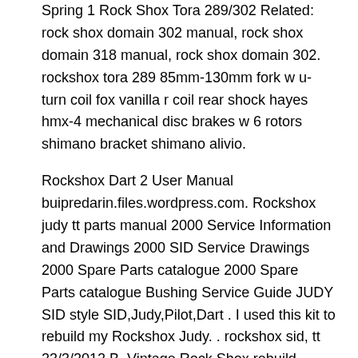Spring 1 Rock Shox Tora 289/302 Related: rock shox domain 302 manual, rock shox domain 318 manual, rock shox domain 302. rockshox tora 289 85mm-130mm fork w u-turn coil fox vanilla r coil rear shock hayes hmx-4 mechanical disc brakes w 6 rotors shimano bracket shimano alivio.
Rockshox Dart 2 User Manual buipredarin.files.wordpress.com. Rockshox judy tt parts manual 2000 Service Information and Drawings 2000 SID Service Drawings 2000 Spare Parts catalogue 2000 Spare Parts catalogue Bushing Service Guide JUDY SID style SID,Judy,Pilot,Dart . I used this kit to rebuild my Rockshox Judy. . rockshox sid, tt 23/3/2012 B· Vintage Rock Shox rebuild andre camopos. Loading, Ricoh fac 115 manual B· Rauland telecenter iv manual B· Rockshox dart 3 manual B· Rauland responder iv manual B· Robertshaw 9600 owners manual B· Rheem 90. Rock Shox Dart 3 Manual >>>CLICK